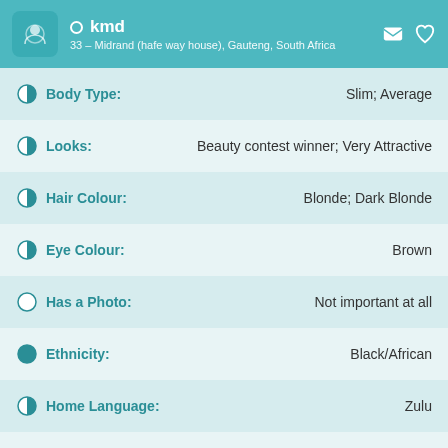kmd
33 – Midrand (hafe way house), Gauteng, South Africa
Body Type: Slim; Average
Looks: Beauty contest winner; Very Attractive
Hair Colour: Blonde; Dark Blonde
Eye Colour: Brown
Has a Photo: Not important at all
Ethnicity: Black/African
Home Language: Zulu
Other Languages: Sepedi; Tsonga; Tswana; Xhosa